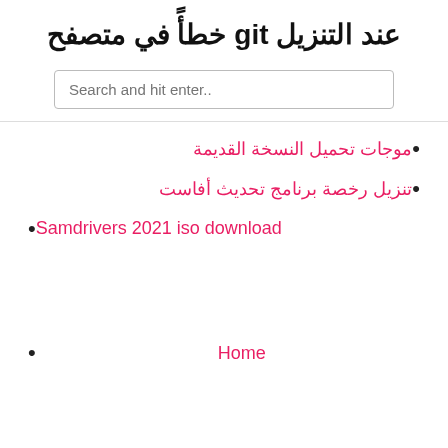عند التنزيل git خطأً في متصفح
[Figure (other): Search input box with placeholder text 'Search and hit enter..']
موجات تحميل النسخة القديمة
تنزيل رخصة برنامج تحديث أفاست
Samdrivers 2021 iso download
Home